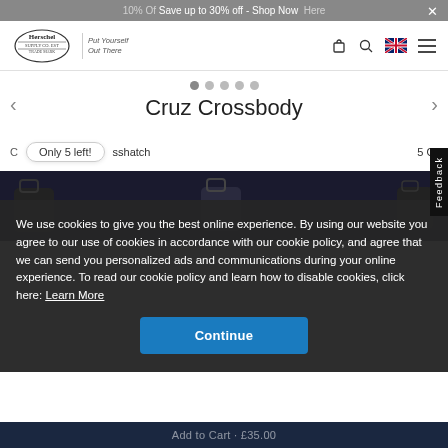10% Off... Save up to 30% off - Shop Now   Here  ×
[Figure (logo): Herschel Supply Co. logo with tagline 'Put Yourself Out There']
Cruz Crossbody
Only 5 left!   Crosshatch   5 Of
[Figure (photo): Dark background product image strip showing black crossbody bag silhouettes]
We use cookies to give you the best online experience. By using our website you agree to our use of cookies in accordance with our cookie policy, and agree that we can send you personalized ads and communications during your online experience. To read our cookie policy and learn how to disable cookies, click here: Learn More
Continue
Add to Cart · £35.00